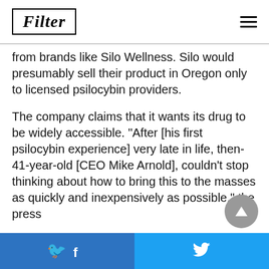Filter
from brands like Silo Wellness. Silo would presumably sell their product in Oregon only to licensed psilocybin providers.
The company claims that it wants its drug to be widely accessible. “After [his first psilocybin experience] very late in life, then-41-year-old [CEO Mike Arnold], couldn’t stop thinking about how to bring this to the masses as quickly and inexpensively as possible,” the press
Facebook | Twitter share buttons